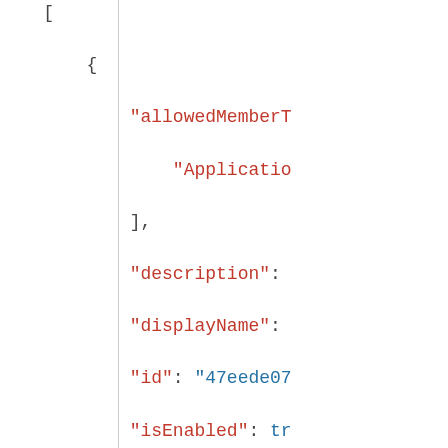[
    {
        "allowedMemberT...
            "Applicatio...
        ],
        "description": ...
        "displayName": ...
        "id": "47eede07...
        "isEnabled": tr...
        "lang": null,
        "origin": "Appl...
        "value": "Consu...